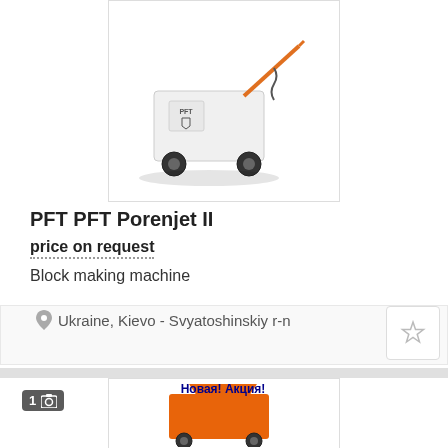[Figure (photo): PFT Porenjet II block making machine - white machine with orange arm/boom on wheels]
PFT PFT Porenjet II
price on request
Block making machine
Ukraine, Kievo - Svyatoshinskiy r-n
[Figure (photo): Orange plastering/spraying machine with hopper on wheels, with text overlay: Новая! Акция!]